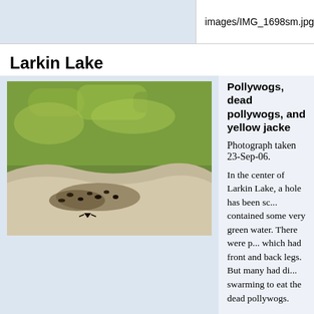images/IMG_1698sm.jpg
Larkin Lake
[Figure (photo): Photograph of pollywogs at Larkin Lake showing green water and tadpoles near the shore]
Pollywogs, dead pollywogs, and yellow jacke...
Photograph taken 23-Sep-06.
In the center of Larkin Lake, a hole has been sc... contained some very green water. There were p... which had front and back legs. But many had di... swarming to eat the dead pollywogs.
Later, having returned home, I reviewed the col... of Vertebrate Zoology (MVZ). There are four sp... collected in Mono County. They are:
1. Great Basin Spadefoot Toad (Spea interm...)
2. Mountain Leopard Frog (Rana pipiens).
3. Mountain Yellow-legged Frog (Rana mus...).
4. Pacific Tree Frog (Pseudacris regilla).
Of the four species, it seems more likely that th... is the Great Basin Spadefoot Toad. The true fro... (Pseudacris regilla) have been collected in the...